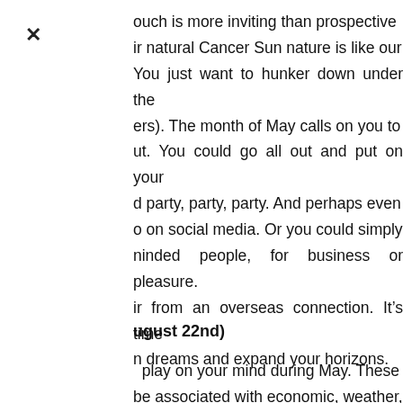ouch is more inviting than prospective ir natural Cancer Sun nature is like our You just want to hunker down under the ers). The month of May calls on you to ut. You could go all out and put on your d party, party, party. And perhaps even o on social media. Or you could simply ninded people, for business or pleasure. ir from an overseas connection. It’s time n dreams and expand your horizons.
ugust 22nd)
play on your mind during May. These be associated with economic, weather, leath cycles. Or perhaps on emotional or ers. If you are in business then this is an sit or revisit your vision or mission